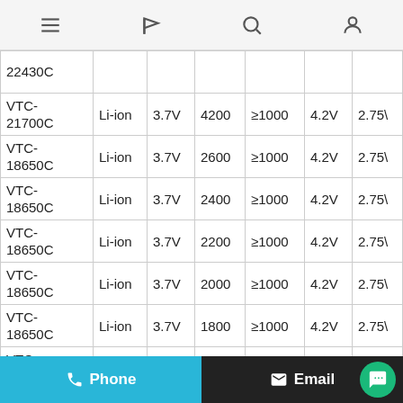Navigation bar with menu, flag, search, and account icons
| Model | Type | Nominal Voltage | Capacity (mAh) | Cycle Life | Max Charge Voltage | Cut-off Voltage |
| --- | --- | --- | --- | --- | --- | --- |
| 22430C |  |  |  |  |  |  |
| VTC-21700C | Li-ion | 3.7V | 4200 | ≥1000 | 4.2V | 2.75\ |
| VTC-18650C | Li-ion | 3.7V | 2600 | ≥1000 | 4.2V | 2.75\ |
| VTC-18650C | Li-ion | 3.7V | 2400 | ≥1000 | 4.2V | 2.75\ |
| VTC-18650C | Li-ion | 3.7V | 2200 | ≥1000 | 4.2V | 2.75\ |
| VTC-18650C | Li-ion | 3.7V | 2000 | ≥1000 | 4.2V | 2.75\ |
| VTC-18650C | Li-ion | 3.7V | 1800 | ≥1000 | 4.2V | 2.75\ |
| VTC-18650C | Li-ion | 3.7V | 1500 | ≥1000 | 4.2V | 2.75\ |
| VTC-18650C | Li-ion | 3.7V | 1300 | ≥1000 | 4.2V | 2.75\ |
Phone  Email